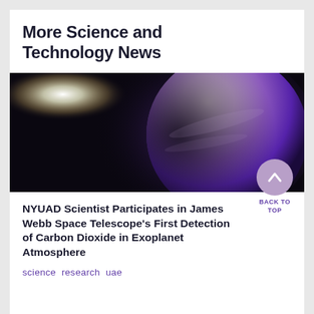More Science and Technology News
[Figure (photo): Artistic rendering of an exoplanet with a purple-blue atmosphere lit by a bright star against a dark black space background]
NYUAD Scientist Participates in James Webb Space Telescope's First Detection of Carbon Dioxide in Exoplanet Atmosphere
science  research  uae